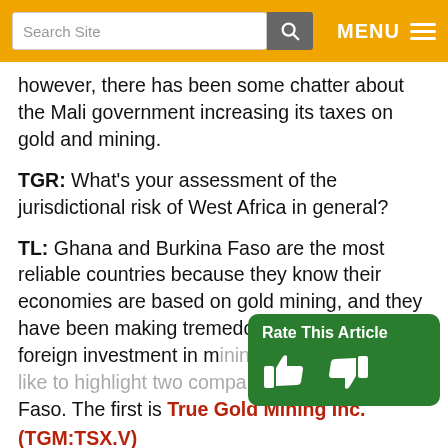Search Site | MENU
however, there has been some chatter about the Mali government increasing its taxes on gold and mining.
TGR: What's your assessment of the jurisdictional risk of West Africa in general?
TL: Ghana and Burkina Faso are the most reliable countries because they know their economies are based on gold mining, and they have been making tremendous strides attracting foreign investment in mining. I'd like to highlight two companies in Burkina Faso. The first is True Gold Mining Inc. (TGM:TSX.V),
[Figure (other): Rate This Article overlay with thumbs up and thumbs down icons on a green background]